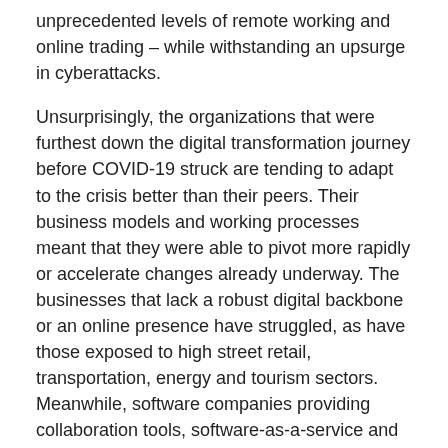unprecedented levels of remote working and online trading – while withstanding an upsurge in cyberattacks.
Unsurprisingly, the organizations that were furthest down the digital transformation journey before COVID-19 struck are tending to adapt to the crisis better than their peers. Their business models and working processes meant that they were able to pivot more rapidly or accelerate changes already underway. The businesses that lack a robust digital backbone or an online presence have struggled, as have those exposed to high street retail, transportation, energy and tourism sectors. Meanwhile, software companies providing collaboration tools, software-as-a-service and cloud capacity are seeing high levels of demand to meet rapidly changing customer and business behaviour.